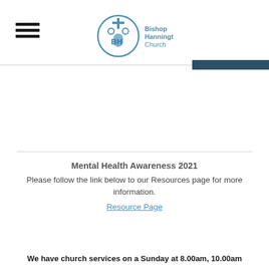[Figure (logo): Bishop Hannington Church logo — circular icon with church/cross motif and text 'Bishop Hannington Church' in blue]
Mental Health Awareness 2021
Please follow the link below to our Resources page for more information.
Resource Page
We have church services on a Sunday at 8.00am, 10.00am